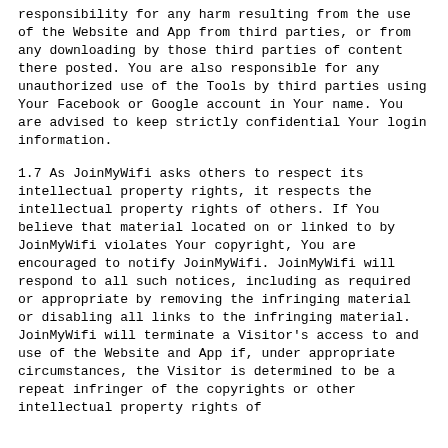responsibility for any harm resulting from the use of the Website and App from third parties, or from any downloading by those third parties of content there posted. You are also responsible for any unauthorized use of the Tools by third parties using Your Facebook or Google account in Your name. You are advised to keep strictly confidential Your login information.
1.7 As JoinMyWifi asks others to respect its intellectual property rights, it respects the intellectual property rights of others. If You believe that material located on or linked to by JoinMyWifi violates Your copyright, You are encouraged to notify JoinMyWifi. JoinMyWifi will respond to all such notices, including as required or appropriate by removing the infringing material or disabling all links to the infringing material. JoinMyWifi will terminate a Visitor's access to and use of the Website and App if, under appropriate circumstances, the Visitor is determined to be a repeat infringer of the copyrights or other intellectual property rights of